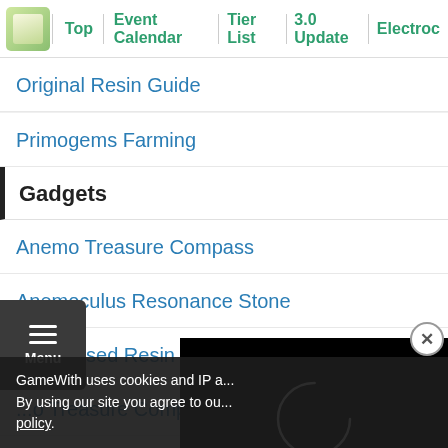Top | Event Calendar | Tier List | 3.0 Update | Electroc...
Original Resin Guide
Primogems Farming
Gadgets
Anemo Treasure Compass
Anemoculus Resonance Stone
Condensed Resin
...o Treasure Compass
Geoculus Resonance Stone
NRE (Menu 30)
[Figure (screenshot): Black video player area with loading spinner circle and close button]
GameWith uses cookies and IP a... By using our site you agree to ou... policy.